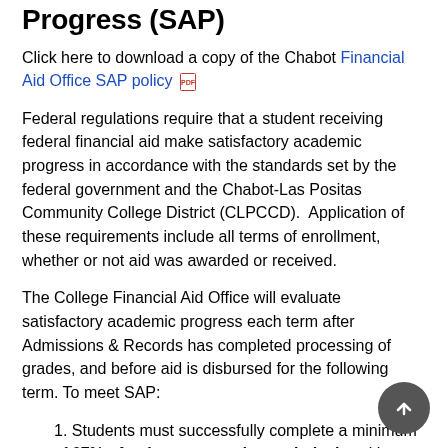Progress (SAP)
Click here to download a copy of the Chabot Financial Aid Office SAP policy [pdf icon]
Federal regulations require that a student receiving federal financial aid make satisfactory academic progress in accordance with the standards set by the federal government and the Chabot-Las Positas Community College District (CLPCCD).  Application of these requirements include all terms of enrollment, whether or not aid was awarded or received.
The College Financial Aid Office will evaluate satisfactory academic progress each term after Admissions & Records has completed processing of grades, and before aid is disbursed for the following term. To meet SAP:
Students must successfully complete a minimum of 67% of units attempted cumulatively, with